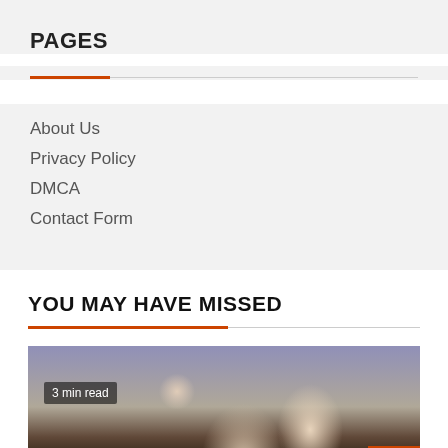PAGES
About Us
Privacy Policy
DMCA
Contact Form
YOU MAY HAVE MISSED
[Figure (photo): Photo of people at a car dealership, two men near a black car, one sitting inside and one standing outside. A badge reads '3 min read'. An orange back-to-top arrow button is in the bottom right corner.]